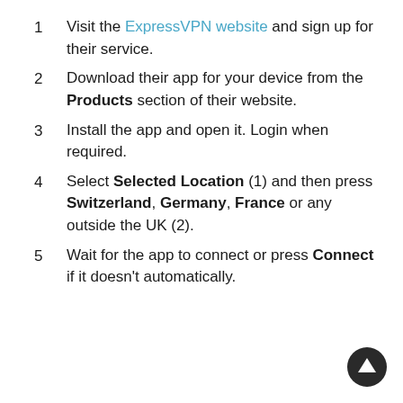1  Visit the ExpressVPN website and sign up for their service.
2  Download their app for your device from the Products section of their website.
3  Install the app and open it. Login when required.
4  Select Selected Location (1) and then press Switzerland, Germany, France or any outside the UK (2).
5  Wait for the app to connect or press Connect if it doesn't automatically.